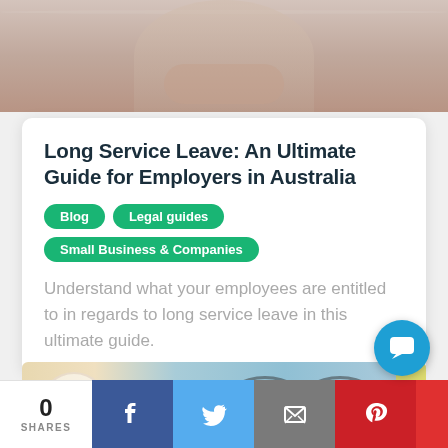[Figure (photo): Top portion of a person in light/cream colored clothing, cropped photo strip at top of page]
Long Service Leave: An Ultimate Guide for Employers in Australia
Blog
Legal guides
Small Business & Companies
Understand what your employees are entitled to in regards to long service leave in this ultimate guide.
[Figure (photo): Flat lay photo showing macarons on a plate, glasses, binder clips, paper clips on a blue background]
0
SHARES